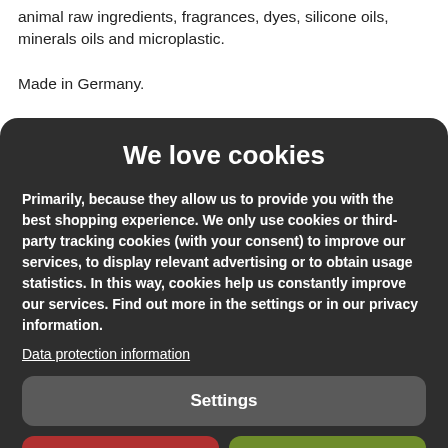animal raw ingredients, fragrances, dyes, silicone oils, minerals oils and microplastic.
Made in Germany.
We love cookies
Primarily, because they allow us to provide you with the best shopping experience. We only use cookies or third-party tracking cookies (with your consent) to improve our services, to display relevant advertising or to obtain usage statistics. In this way, cookies help us constantly improve our services. Find out more in the settings or in our privacy information.
Data protection information
Settings
Reject all
Accept all